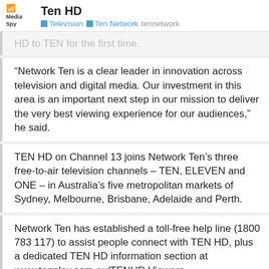Ten HD — Television | Ten Network tennetwork
HD to TEN for the first time.
“Network Ten is a clear leader in innovation across television and digital media. Our investment in this area is an important next step in our mission to deliver the very best viewing experience for our audiences,” he said.
TEN HD on Channel 13 joins Network Ten’s three free-to-air television channels – TEN, ELEVEN and ONE – in Australia’s five metropolitan markets of Sydney, Melbourne, Brisbane, Adelaide and Perth.
Network Ten has established a toll-free help line (1800 783 117) to assist people connect with TEN HD, plus a dedicated TEN HD information section at www.tenplay.com.au/TENHD Viewers television will still be able to watch TEl